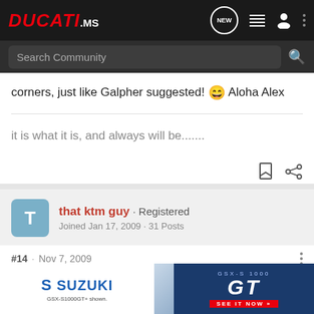DUCATI.ms — Search Community
corners, just like Galpher suggested! 😄 Aloha Alex
it is what it is, and always will be.......
that ktm guy · Registered
Joined Jan 17, 2009 · 31 Posts
#14 · Nov 7, 2009
I know y... have a look at t... nd it's
[Figure (screenshot): Suzuki GSX-S1000GT advertisement banner at bottom of page]